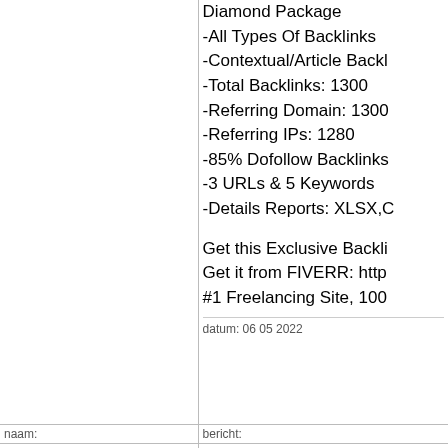Diamond Package
-All Types Of Backlinks
-Contextual/Article Backlinks
-Total Backlinks: 1300
-Referring Domain: 1300
-Referring IPs: 1280
-85% Dofollow Backlinks
-3 URLs & 5 Keywords
-Details Reports: XLSX,CSV

Get this Exclusive Backlink Package!
Get it from FIVERR: http...
#1 Freelancing Site, 100...
datum: 06 05 2022
naam:
bericht:
Henryedulp
E-mail: sabik_princess@hotmail.com
Het enorme inkomen zon...
https://edulp.187sued.de...
datum: 06 05 2022
naam:
bericht:
Henryedulp
E-mail:
Robot is de beste oploss...
https://edulp.187sued.de...